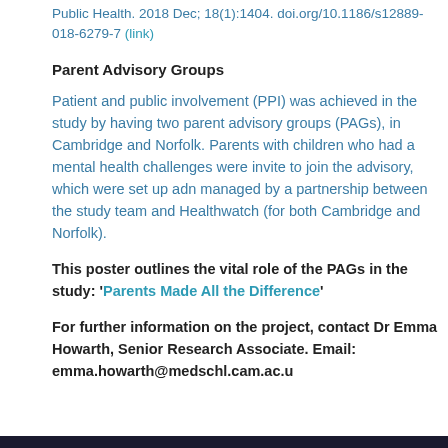Public Health. 2018 Dec; 18(1):1404. doi.org/10.1186/s12889-018-6279-7 (link)
Parent Advisory Groups
Patient and public involvement (PPI) was achieved in the study by having two parent advisory groups (PAGs), in Cambridge and Norfolk. Parents with children who had a mental health challenges were invited to join the advisory, which were set up adn managed by a partnership between the study team and Healthwatch (for both Cambridge and Norfolk).
This poster outlines the vital role of the PAGs in the study: 'Parents Made All the Difference'
For further information on the project, contact Dr Emma Howarth, Senior Research Associate. Email: emma.howarth@medschl.cam.ac.u